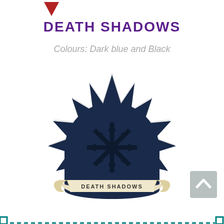[Figure (illustration): Small red downward-pointing triangle/arrow at top left area]
DEATH SHADOWS
Colours: Dark blue and Black
[Figure (logo): Death Shadows guild/chapter emblem: dark navy blue star-burst shape with chaos star (8-pointed arrow symbol) in center, white outline border, and a cream/beige scroll banner at the bottom reading 'DEATH SHADOWS']
[Figure (other): Scroll-to-top button (grey square with upward chevron arrow) in bottom right corner]
[Figure (other): Teal/dark cyan dashed border along the bottom edge of the page]